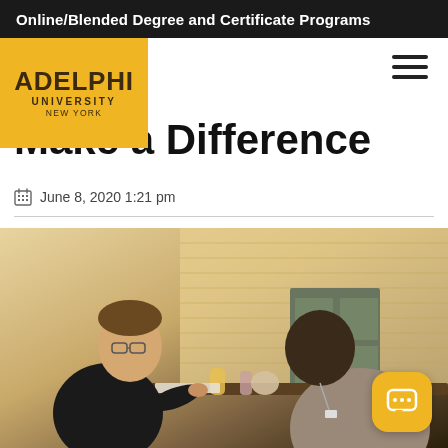Online/Blended Degree and Certificate Programs
[Figure (logo): Adelphi University New York logo on gold/yellow background]
Make a Difference
June 8, 2020 1:21 pm
[Figure (photo): Two men sitting across from each other at a table in a bright office with blinds in the background, appearing to have a professional conversation]